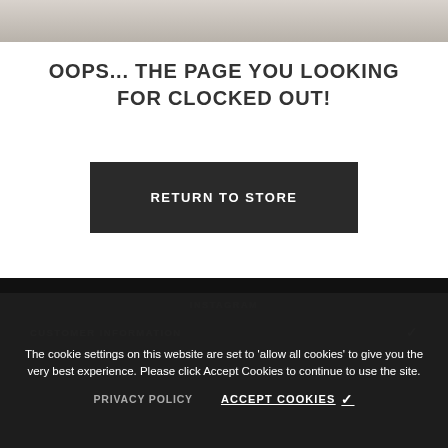[Figure (photo): Partial top of page showing a surface/texture image crop at the top of the viewport]
OOPS... THE PAGE YOU LOOKING FOR CLOCKED OUT!
RETURN TO STORE
[Figure (infographic): Black social media bar with Facebook, Twitter, and Instagram icons in white]
The cookie settings on this website are set to 'allow all cookies' to give you the very best experience. Please click Accept Cookies to continue to use the site.
PRIVACY POLICY   ACCEPT COOKIES ✓